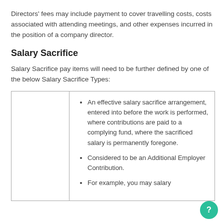Directors' fees may include payment to cover travelling costs, costs associated with attending meetings, and other expenses incurred in the position of a company director.
Salary Sacrifice
Salary Sacrifice pay items will need to be further defined by one of the below Salary Sacrifice Types:
An effective salary sacrifice arrangement, entered into before the work is performed, where contributions are paid to a complying fund, where the sacrificed salary is permanently foregone.
Considered to be an Additional Employer Contribution.
For example, you may salary